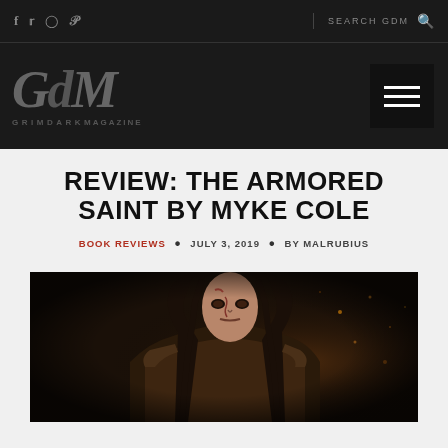f  t  instagram  pinterest  |  SEARCH GDM
[Figure (logo): GdM GrimDark Magazine logo in dark italic style with tagline GRIMDARKMAGAZINE below]
REVIEW: THE ARMORED SAINT BY MYKE COLE
BOOK REVIEWS • JULY 3, 2019 • BY MALRUBIUS
[Figure (photo): Dark fantasy character portrait - armored warrior with long dark hair, blood on face, wearing brown leather armor, dramatic lighting with sparks/embers in background]